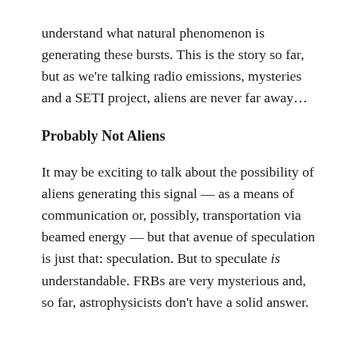understand what natural phenomenon is generating these bursts. This is the story so far, but as we're talking radio emissions, mysteries and a SETI project, aliens are never far away…
Probably Not Aliens
It may be exciting to talk about the possibility of aliens generating this signal — as a means of communication or, possibly, transportation via beamed energy — but that avenue of speculation is just that: speculation. But to speculate is understandable. FRBs are very mysterious and, so far, astrophysicists don't have a solid answer.